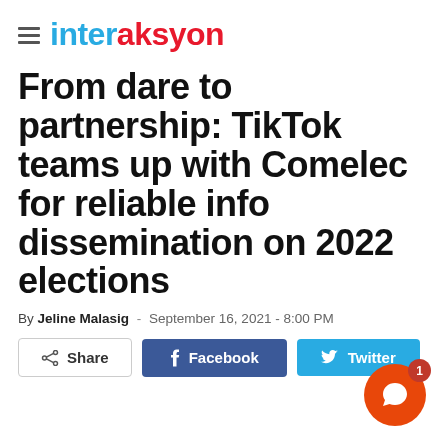interaksyon
From dare to partnership: TikTok teams up with Comelec for reliable info dissemination on 2022 elections
By Jeline Malasig - September 16, 2021 - 8:00 PM
[Figure (other): Share, Facebook, and Twitter social sharing buttons row]